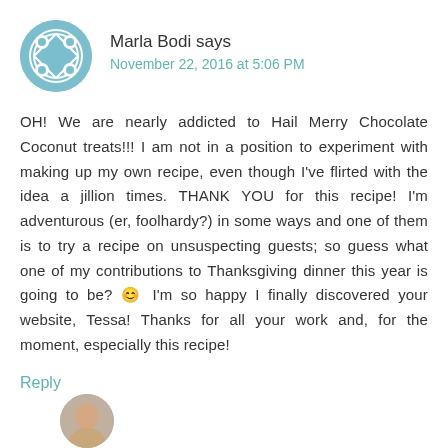Marla Bodi says
November 22, 2016 at 5:06 PM
OH! We are nearly addicted to Hail Merry Chocolate Coconut treats!!! I am not in a position to experiment with making up my own recipe, even though I've flirted with the idea a jillion times. THANK YOU for this recipe! I'm adventurous (er, foolhardy?) in some ways and one of them is to try a recipe on unsuspecting guests; so guess what one of my contributions to Thanksgiving dinner this year is going to be? 😊 I'm so happy I finally discovered your website, Tessa! Thanks for all your work and, for the moment, especially this recipe!
Reply